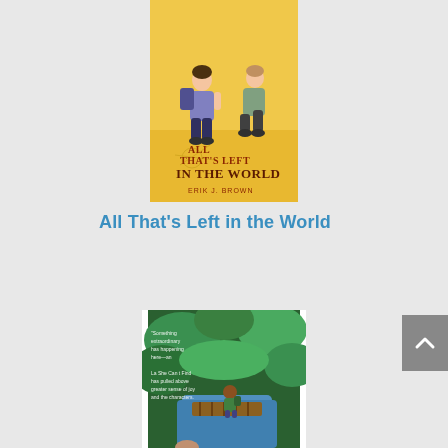[Figure (illustration): Book cover of 'All That's Left in the World' by Erik J. Brown. Shows two teenage boys sitting on sandy ground, one with a backpack. Yellow/golden background with compass rose design. Title text in dark brown letters, author name at bottom.]
All That's Left in the World
[Figure (illustration): Partial book cover showing a child with a backpack on a raft or floating platform surrounded by lush green jungle/forest scenery. Another figure partially visible at bottom. White border around the cover.]